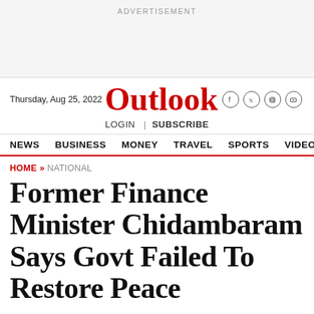ADVERTISEMENT
Thursday, Aug 25, 2022 | Outlook | LOGIN | SUBSCRIBE
NEWS  BUSINESS  MONEY  TRAVEL  SPORTS  VIDEOS
HOME » NATIONAL
Former Finance Minister Chidambaram Says Govt Failed To Restore Peace